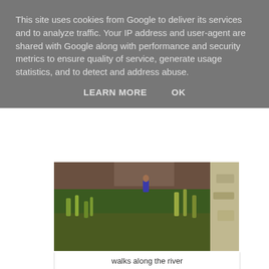This site uses cookies from Google to deliver its services and to analyze traffic. Your IP address and user-agent are shared with Google along with performance and security metrics to ensure quality of service, generate usage statistics, and to detect and address abuse.
LEARN MORE   OK
[Figure (photo): Photo of a river walk path with green grass and rocky terrain, person visible in background]
walks along the river
and along fallen tress when the rocks ran out.
[Figure (photo): Photo of dense green ferns and foliage over a river or stream with fallen tree trunks visible]